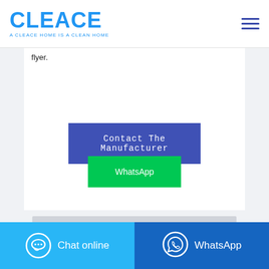[Figure (logo): CLEACE logo with tagline 'A CLEACE HOME IS A CLEAN HOME' in blue]
flyer.
Contact The Manufacturer
WhatsApp
Chat online
WhatsApp